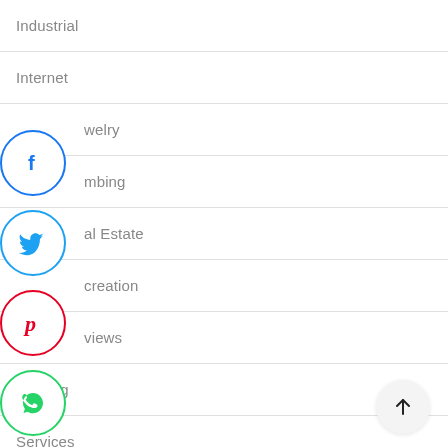Industrial
Internet
Jewelry
Plumbing
Real Estate
Recreation
Reviews
Roofing
Services
[Figure (infographic): Social media sharing icons overlaid on the left side: Facebook (blue circle with f), Twitter (blue circle with bird), Pinterest (red circle with P), WhatsApp (green circle with phone), LinkedIn (blue circle with in)]